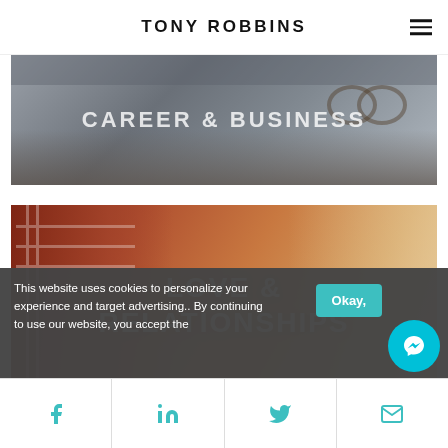TONY ROBBINS
[Figure (photo): Career & Business banner image showing hands near a laptop and glasses on a desk, with semi-transparent gray overlay and white text 'CAREER & BUSINESS']
[Figure (photo): Love & Relationships banner image showing two people holding hands, with warm orange/red tones and white text 'LOVE & RELATIONSHIPS']
This website uses cookies to personalize your experience and target advertising.. By continuing to use our website, you accept the
Okay,